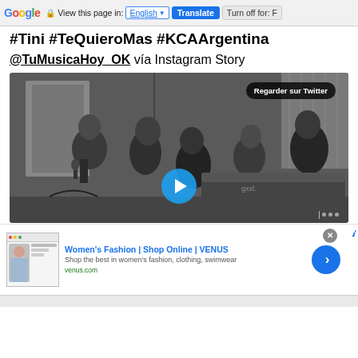Google Translate bar — View this page in: English | Translate | Turn off for: F
#Tini #TeQuieroMas #KCAArgentina
@TuMusicaHoy_OK vía Instagram Story
[Figure (screenshot): Black and white photo of a group of people in a room, some singing into a microphone. Overlay badge reads 'Regarder sur Twitter'. Blue play button in center bottom. Progress indicators bottom right.]
[Figure (screenshot): Advertisement: Women's Fashion | Shop Online | VENUS. Shop the best in women's fashion, clothing, swimwear. venus.com. Thumbnail of fashion website. Blue arrow button.]